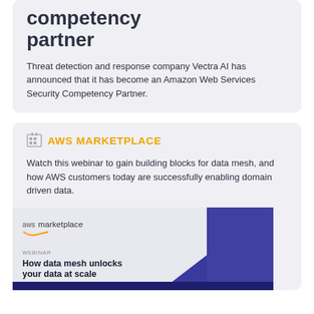competency partner
Threat detection and response company Vectra AI has announced that it has become an Amazon Web Services Security Competency Partner.
AWS MARKETPLACE
Watch this webinar to gain building blocks for data mesh, and how AWS customers today are successfully enabling domain driven data.
[Figure (other): AWS Marketplace webinar promotional image with text 'WEBINAR How data mesh unlocks your data at scale' and a purple geometric design on the right side.]